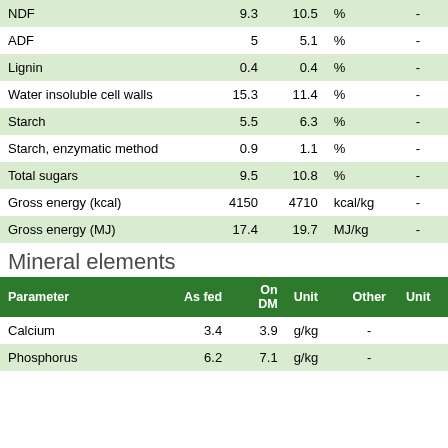| Parameter | As fed | On DM | Unit | Other | Unit |
| --- | --- | --- | --- | --- | --- |
| NDF | 9.3 | 10.5 | % | - |  |
| ADF | 5 | 5.1 | % | - |  |
| Lignin | 0.4 | 0.4 | % | - |  |
| Water insoluble cell walls | 15.3 | 11.4 | % | - |  |
| Starch | 5.5 | 6.3 | % | - |  |
| Starch, enzymatic method | 0.9 | 1.1 | % | - |  |
| Total sugars | 9.5 | 10.8 | % | - |  |
| Gross energy (kcal) | 4150 | 4710 | kcal/kg | - |  |
| Gross energy (MJ) | 17.4 | 19.7 | MJ/kg | - |  |
Mineral elements
| Parameter | As fed | On DM | Unit | Other | Unit |
| --- | --- | --- | --- | --- | --- |
| Calcium | 3.4 | 3.9 | g/kg | - |  |
| Phosphorus | 6.2 | 7.1 | g/kg | - |  |